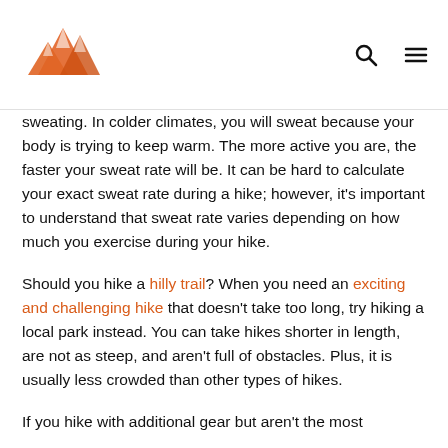[Logo: mountain hiker icon] [search icon] [menu icon]
sweating. In colder climates, you will sweat because your body is trying to keep warm. The more active you are, the faster your sweat rate will be. It can be hard to calculate your exact sweat rate during a hike; however, it's important to understand that sweat rate varies depending on how much you exercise during your hike.
Should you hike a hilly trail? When you need an exciting and challenging hike that doesn't take too long, try hiking a local park instead. You can take hikes shorter in length, are not as steep, and aren't full of obstacles. Plus, it is usually less crowded than other types of hikes.
If you hike with additional gear but aren't the most